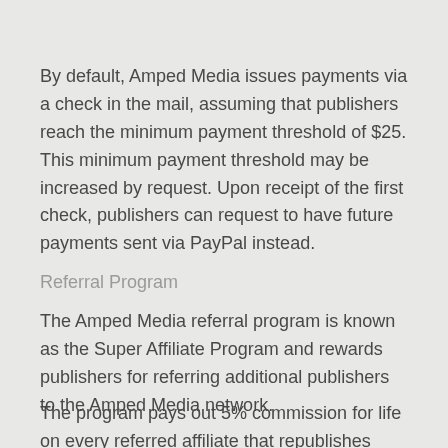By default, Amped Media issues payments via a check in the mail, assuming that publishers reach the minimum payment threshold of $25. This minimum payment threshold may be increased by request. Upon receipt of the first check, publishers can request to have future payments sent via PayPal instead.
Referral Program
The Amped Media referral program is known as the Super Affiliate Program and rewards publishers for referring additional publishers to the Amped Media network.
The program pays out 5% commission for life on every referred affiliate that republishes from Amped Media.